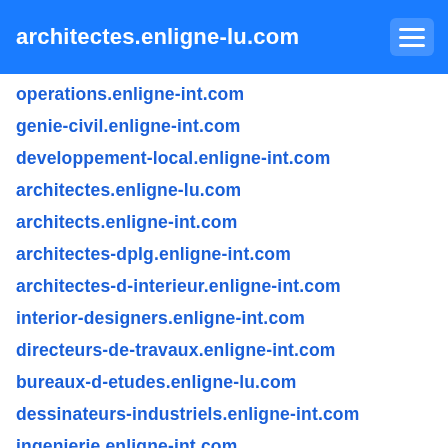architectes.enligne-lu.com
operations.enligne-int.com
genie-civil.enligne-int.com
developpement-local.enligne-int.com
architectes.enligne-lu.com
architects.enligne-int.com
architectes-dplg.enligne-int.com
architectes-d-interieur.enligne-int.com
interior-designers.enligne-int.com
directeurs-de-travaux.enligne-int.com
bureaux-d-etudes.enligne-lu.com
dessinateurs-industriels.enligne-int.com
ingenierie.enligne-int.com
engineering.enligne-int.com